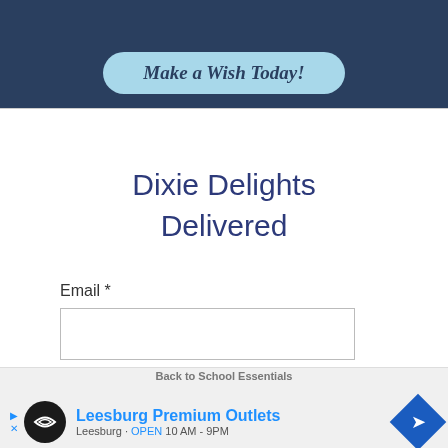[Figure (illustration): Dark blue banner with a light blue rounded button reading 'Make a Wish Today!' in bold italic serif font]
Dixie Delights Delivered
Email *
[Figure (screenshot): An email input text field (empty) and a dark navy SUBSCRIBE button below it]
[Figure (screenshot): Bottom advertisement banner for Leesburg Premium Outlets showing logo, text 'Back to School Essentials', 'Leesburg Premium Outlets', 'Leesburg - OPEN 10 AM - 9PM', with navigation arrow icon]